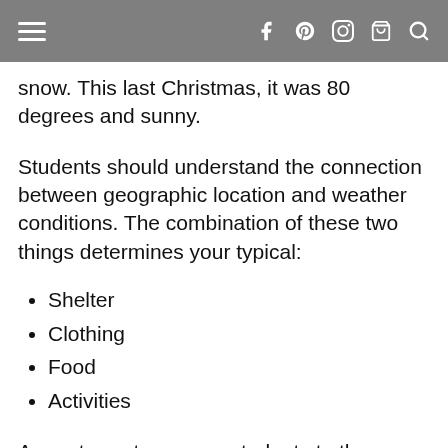≡  f  Pinterest  Instagram  Cart  Search
snow. This last Christmas, it was 80 degrees and sunny.
Students should understand the connection between geographic location and weather conditions. The combination of these two things determines your typical:
Shelter
Clothing
Food
Activities
A great way to expose students to these differences is through realistic fiction read alouds! Reading about different kids in different places is a great way to show students this...